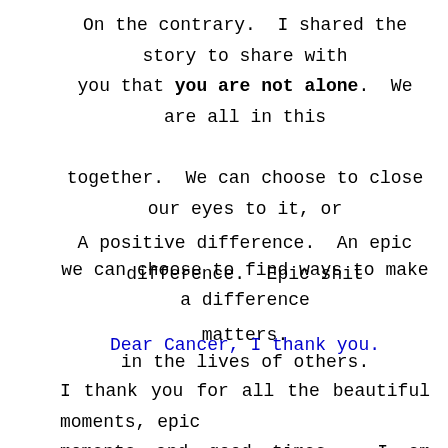On the contrary.  I shared the story to share with you that you are not alone.  We are all in this together.  We can choose to close our eyes to it, or we can choose to find ways to make a difference in the lives of others.
A positive difference.  An epic difference.  Epic shit matters.
Dear Cancer, I thank you.
I thank you for all the beautiful moments, epic moments and good times.  I am still saddened